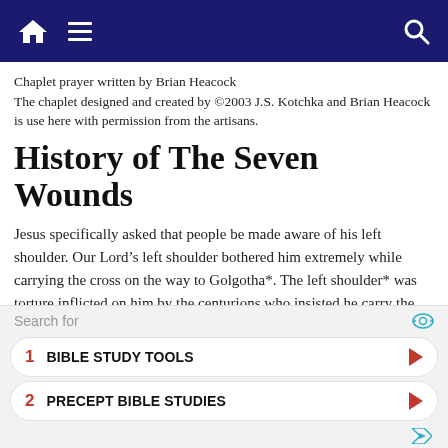Navigation bar with home, menu, and search icons
Chaplet prayer written by Brian Heacock
The chaplet designed and created by ©2003 J.S. Kotchka and Brian Heacock is use here with permission from the artisans.
History of The Seven Wounds
Jesus specifically asked that people be made aware of his left shoulder. Our Lord's left shoulder bothered him extremely while carrying the cross on the way to Golgotha*. The left shoulder* was torture inflicted on him by the centurions who insisted he carry the cross on his left
[Figure (other): Advertisement overlay with search bar and two list items: 1. BIBLE STUDY TOOLS, 2. PRECEPT BIBLE STUDIES]